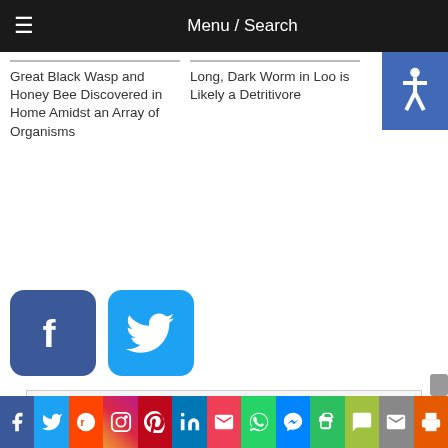Menu / Search
Great Black Wasp and Honey Bee Discovered in Home Amidst an Array of Organisms
Long, Dark Worm in Loo is Likely a Detritivore
[Figure (logo): Facebook share button icon]
[Figure (logo): Twitter share button icon]
Summary
[Figure (photo): Close-up photograph of small brown pellets or droppings on a light-colored fabric surface with small dark sticks, possibly insect frass or debris]
Social sharing bar: Facebook, Twitter, Reddit, Instagram, Pinterest, LinkedIn, Email, WhatsApp, Messenger, Evernote, SMS, Mail, Print